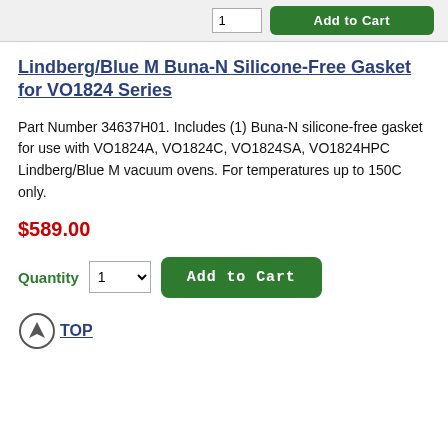Lindberg/Blue M Buna-N Silicone-Free Gasket for VO1824 Series
Part Number 34637H01. Includes (1) Buna-N silicone-free gasket for use with VO1824A, VO1824C, VO1824SA, VO1824HPC Lindberg/Blue M vacuum ovens. For temperatures up to 150C only.
$589.00
Quantity 1 Add to Cart
TOP